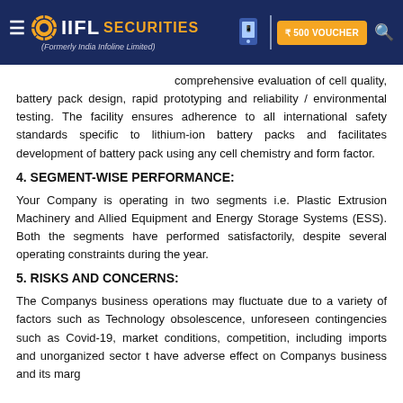IIFL SECURITIES (Formerly India Infoline Limited) | ₹500 VOUCHER
… state-of-the-art equipment and infrastructure for comprehensive evaluation of cell quality, battery pack design, rapid prototyping and reliability / environmental testing. The facility ensures adherence to all international safety standards specific to lithium-ion battery packs and facilitates development of battery pack using any cell chemistry and form factor.
4. SEGMENT-WISE PERFORMANCE:
Your Company is operating in two segments i.e. Plastic Extrusion Machinery and Allied Equipment and Energy Storage Systems (ESS). Both the segments have performed satisfactorily, despite several operating constraints during the year.
5. RISKS AND CONCERNS:
The Companys business operations may fluctuate due to a variety of factors such as Technology obsolescence, unforeseen contingencies such as Covid-19, market conditions, competition, including imports and unorganized sector that have adverse effect on Companys business and its marg…